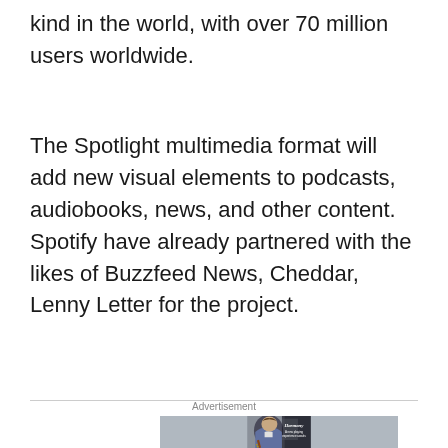kind in the world, with over 70 million users worldwide.
The Spotlight multimedia format will add new visual elements to podcasts, audiobooks, news, and other content. Spotify have already partnered with the likes of Buzzfeed News, Cheddar, Lenny Letter for the project.
Advertisement
[Figure (photo): Advertisement image showing a young man playing guitar in a denim jacket, with text overlay reading 'Harmony' in script font and 'A new playing experience awaits' in white text on dark background]